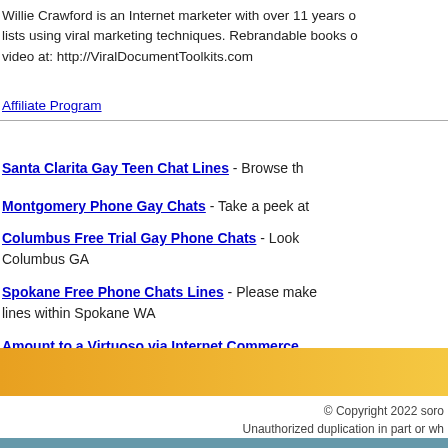Willie Crawford is an Internet marketer with over 11 years o... lists using viral marketing techniques. Rebrandable books o... video at: http://ViralDocumentToolkits.com
Affiliate Program
Santa Clarita Gay Teen Chat Lines - Browse th...
Montgomery Phone Gay Chats - Take a peek at...
Columbus Free Trial Gay Phone Chats - Look... Columbus GA
Spokane Free Phone Chats Lines - Please make... lines within Spokane WA
Amount to a Virtuoso via Internet Commerce
more...
© Copyright 2022 soro... Unauthorized duplication in part or wh...